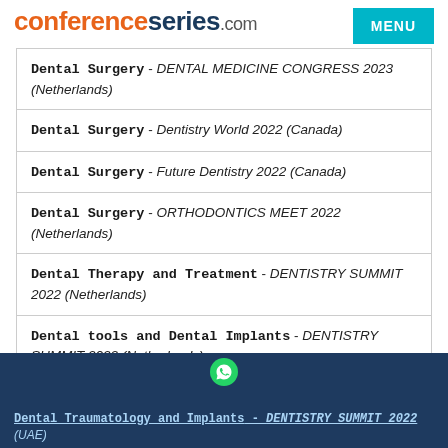conferenceseries.com
Dental Surgery - DENTAL MEDICINE CONGRESS 2023 (Netherlands)
Dental Surgery - Dentistry World 2022 (Canada)
Dental Surgery - Future Dentistry 2022 (Canada)
Dental Surgery - ORTHODONTICS MEET 2022 (Netherlands)
Dental Therapy and Treatment - DENTISTRY SUMMIT 2022 (Netherlands)
Dental tools and Dental Implants - DENTISTRY SUMMIT 2022 (Netherlands)
Dental Traumatology - DENTISTRY SUMMIT 2022 (Netherlands)